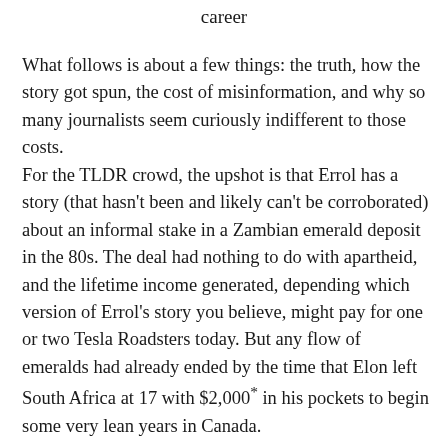career
What follows is about a few things: the truth, how the story got spun, the cost of misinformation, and why so many journalists seem curiously indifferent to those costs.
For the TLDR crowd, the upshot is that Errol has a story (that hasn't been and likely can't be corroborated) about an informal stake in a Zambian emerald deposit in the 80s. The deal had nothing to do with apartheid, and the lifetime income generated, depending which version of Errol's story you believe, might pay for one or two Tesla Roadsters today. But any flow of emeralds had already ended by the time that Elon left South Africa at 17 with $2,000* in his pockets to begin some very lean years in Canada.